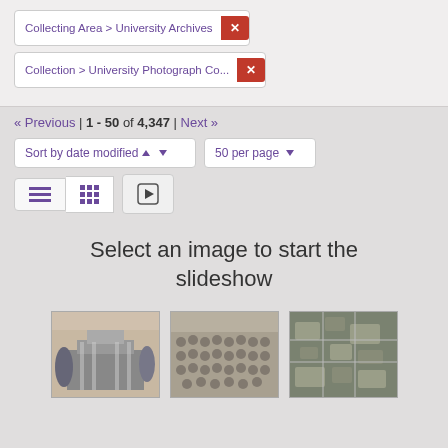Collecting Area > University Archives ×
Collection > University Photograph Co... ×
« Previous | 1 - 50 of 4,347 | Next »
Sort by date modified ▲ ▾
50 per page ▾
Select an image to start the slideshow
[Figure (photo): Black and white photo of a university building with trees]
[Figure (photo): Black and white group photo of many people]
[Figure (photo): Black and white aerial view of a campus or landscape]